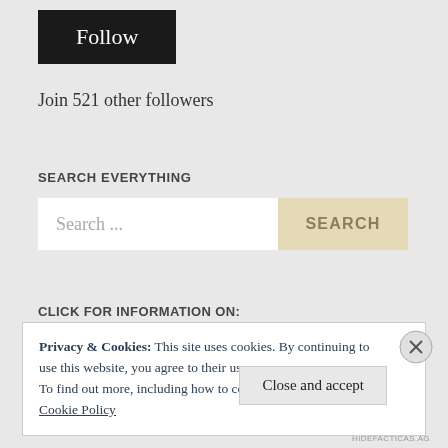Follow
Join 521 other followers
SEARCH EVERYTHING
Search ...
SEARCH
CLICK FOR INFORMATION ON:
Privacy & Cookies: This site uses cookies. By continuing to use this website, you agree to their use.
To find out more, including how to control cookies, see here:
Cookie Policy
Close and accept